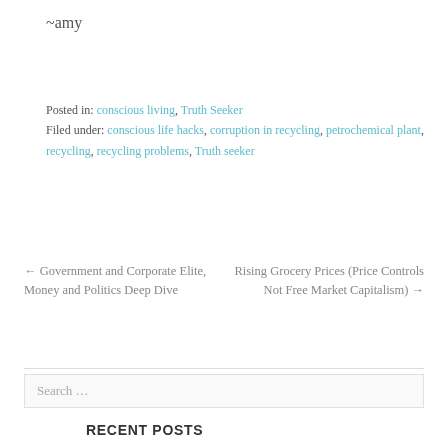~amy
Posted in: conscious living, Truth Seeker
Filed under: conscious life hacks, corruption in recycling, petrochemical plant, recycling, recycling problems, Truth seeker
← Government and Corporate Elite, Money and Politics Deep Dive
Rising Grocery Prices (Price Controls Not Free Market Capitalism) →
Search …
RECENT POSTS